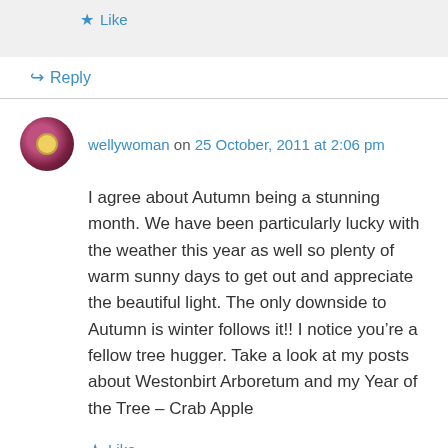Like
Reply
wellywoman on 25 October, 2011 at 2:06 pm
I agree about Autumn being a stunning month. We have been particularly lucky with the weather this year as well so plenty of warm sunny days to get out and appreciate the beautiful light. The only downside to Autumn is winter follows it!! I notice you’re a fellow tree hugger. Take a look at my posts about Westonbirt Arboretum and my Year of the Tree – Crab Apple
Like